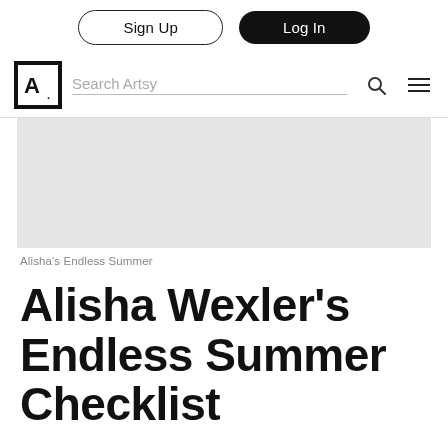Sign Up | Log In
Search Artsy
[Figure (photo): Gray placeholder hero image for Alisha's Endless Summer article]
Alisha's Endless Summer
Alisha Wexler's Endless Summer Checklist